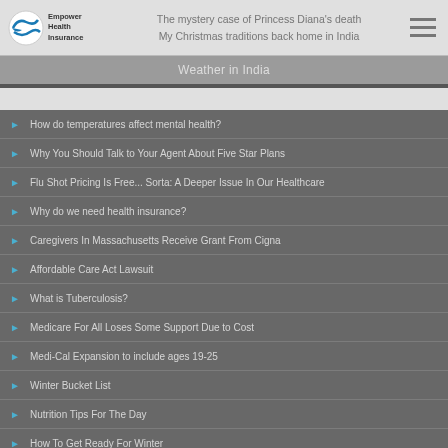Empower Health Insurance
The mystery case of Princess Diana's death
My Christmas traditions back home in India
Weather in India
How do temperatures affect mental health?
Why You Should Talk to Your Agent About Five Star Plans
Flu Shot Pricing Is Free... Sorta: A Deeper Issue In Our Healthcare
Why do we need health insurance?
Caregivers In Massachusetts Receive Grant From Cigna
Affordable Care Act Lawsuit
What is Tuberculosis?
Medicare For All Loses Some Support Due to Cost
Medi-Cal Expansion to include ages 19-25
Winter Bucket List
Nutrition Tips For The Day
How To Get Ready For Winter
Some Advantages of Being a Vegetarian?
Mindfulness Tips for the Day
How To Avoid The Flu This Winter
How To Avoid The Emergency Room On Thanksgiving Day – Deep Fried Turkey